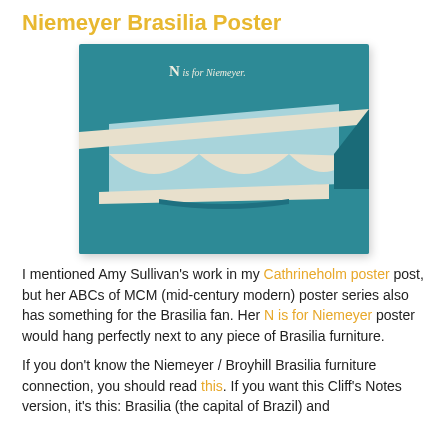Niemeyer Brasilia Poster
[Figure (illustration): A poster with a teal/blue background showing an architectural illustration. Text reads 'N is for Niemeyer.' at the top. Below is a stylized depiction of the Brasilia National Congress building with curved white arches against a light blue sky.]
I mentioned Amy Sullivan's work in my Cathrineholm poster post, but her ABCs of MCM (mid-century modern) poster series also has something for the Brasilia fan. Her N is for Niemeyer poster would hang perfectly next to any piece of Brasilia furniture.
If you don't know the Niemeyer / Broyhill Brasilia furniture connection, you should read this. If you want this Cliff's Notes version, it's this: Brasilia (the capital of Brazil) and